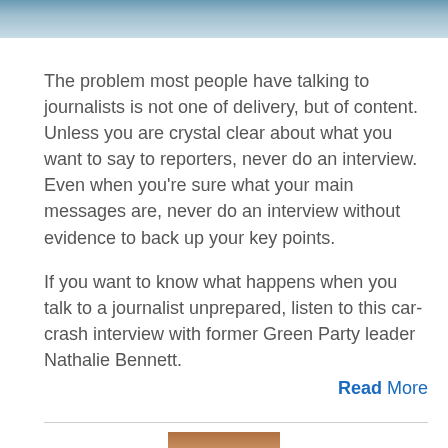[Figure (photo): Top portion of a photo, partially cropped, showing a person against a background.]
The problem most people have talking to journalists is not one of delivery, but of content. Unless you are crystal clear about what you want to say to reporters, never do an interview. Even when you're sure what your main messages are, never do an interview without evidence to back up your key points.
If you want to know what happens when you talk to a journalist unprepared, listen to this car-crash interview with former Green Party leader Nathalie Bennett.
Read More
[Figure (photo): Bottom portion of a photo showing a person with light hair, partially cropped at bottom of page.]